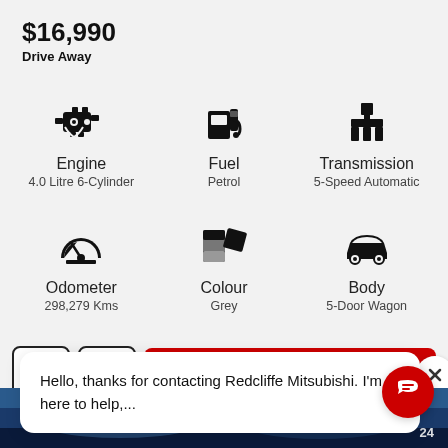$16,990
Drive Away
Engine
4.0 Litre 6-Cylinder
Fuel
Petrol
Transmission
5-Speed Automatic
Odometer
298,279 Kms
Colour
Grey
Body
5-Door Wagon
Details
Hello, thanks for contacting Redcliffe Mitsubishi. I'm here to help,...
[Figure (photo): Car photo at bottom of page]
24